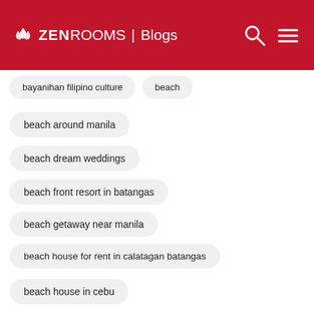ZEN ROOMS | Blogs
bayanihan filipino culture
beach
beach around manila
beach dream weddings
beach front resort in batangas
beach getaway near manila
beach house for rent in calatagan batangas
beach house in cebu
beach houses for rent in batangas
beach houses in batangas